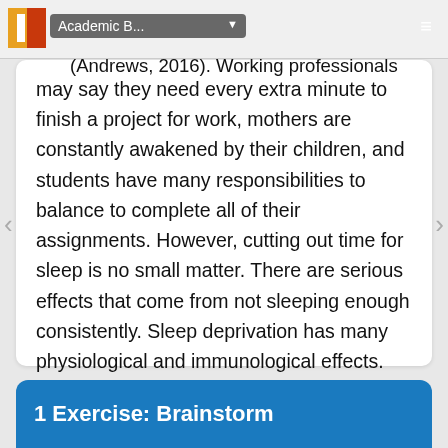Academic B... ☰
professionals, young mothers, and students (Andrews, 2016). Working professionals may say they need every extra minute to finish a project for work, mothers are constantly awakened by their children, and students have many responsibilities to balance to complete all of their assignments. However, cutting out time for sleep is no small matter. There are serious effects that come from not sleeping enough consistently. Sleep deprivation has many physiological and immunological effects.
1 Exercise: Brainstorm